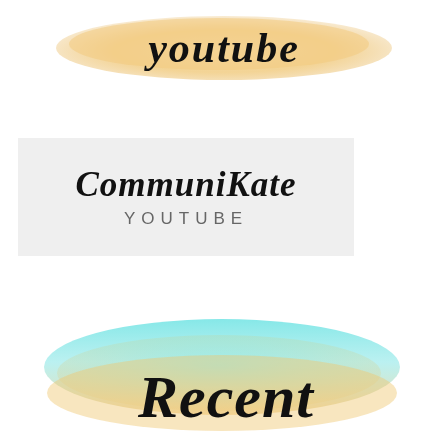[Figure (illustration): Watercolor peach/tan brush stroke with cursive script text 'youtube' overlaid on top]
[Figure (logo): Light gray rectangle logo box with script text 'CommuniKate' above sans-serif 'YOUTUBE']
[Figure (illustration): Watercolor brush stroke transitioning from teal/cyan on top to peach/tan below, with cursive script text 'Recent' overlaid]